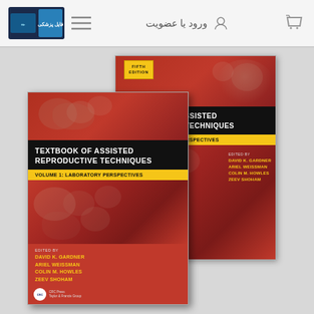ورود یا عضویت
[Figure (photo): Two book covers of 'Textbook of Assisted Reproductive Techniques' Fifth Edition. Back: Volume 2: Clinical Perspectives. Front: Volume 1: Laboratory Perspectives. Edited by David K. Gardner, Ariel Weissman, Colin M. Howles, Zeev Shoham. Published by CRC Press.]